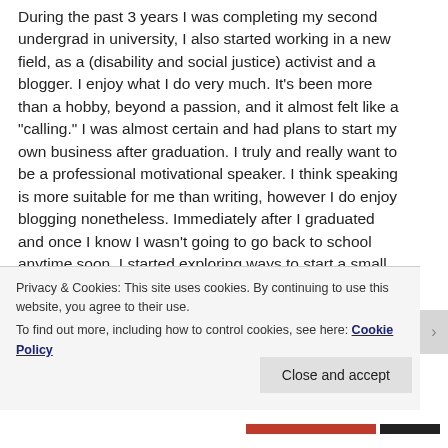During the past 3 years I was completing my second undergrad in university, I also started working in a new field, as a (disability and social justice) activist and a blogger. I enjoy what I do very much. It’s been more than a hobby, beyond a passion, and it almost felt like a “calling.” I was almost certain and had plans to start my own business after graduation. I truly and really want to be a professional motivational speaker. I think speaking is more suitable for me than writing, however I do enjoy blogging nonetheless. Immediately after I graduated and once I know I wasn’t going to go back to school anytime soon, I started exploring ways to start a small business. I looked into resources to start
Privacy & Cookies: This site uses cookies. By continuing to use this website, you agree to their use.
To find out more, including how to control cookies, see here: Cookie Policy